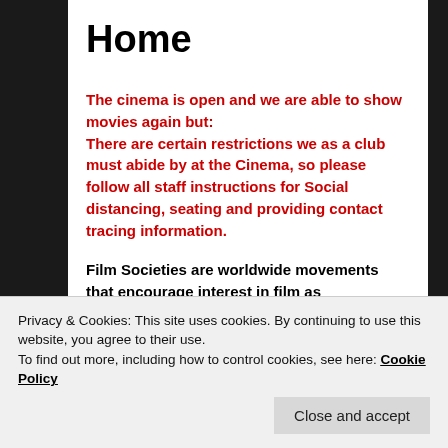Home
The cinema is open and we are able to show movies again but:
There are certain restrictions we as a club must abide by at the Cinema, so please follow all staff instructions for Social distancing, seating and providing contact tracing information.
Film Societies are worldwide movements that encourage interest in film as entertainment, art and as
Privacy & Cookies: This site uses cookies. By continuing to use this website, you agree to their use.
To find out more, including how to control cookies, see here: Cookie Policy
Close and accept